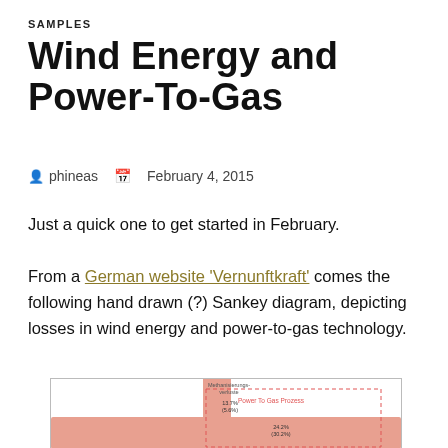SAMPLES
Wind Energy and Power-To-Gas
phineas   February 4, 2015
Just a quick one to get started in February.
From a German website 'Vernunftkraft' comes the following hand drawn (?) Sankey diagram, depicting losses in wind energy and power-to-gas technology.
[Figure (schematic): Partial view of a hand-drawn Sankey diagram showing power-to-gas process losses including Methanisierungs-verluste and Power To Gas Prozess labels with percentage values (13.7%, (5.6%), 24.2%, (30.2%))]